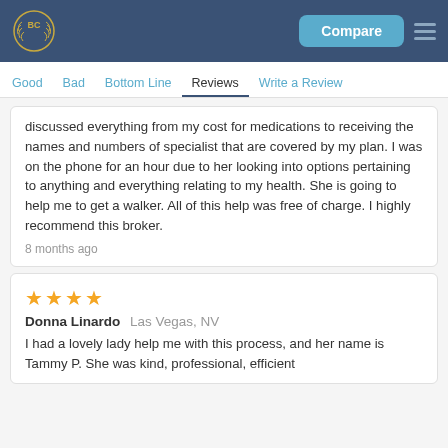BC | Compare | ≡
Good | Bad | Bottom Line | Reviews | Write a Review
discussed everything from my cost for medications to receiving the names and numbers of specialist that are covered by my plan. I was on the phone for an hour due to her looking into options pertaining to anything and everything relating to my health. She is going to help me to get a walker. All of this help was free of charge. I highly recommend this broker.
8 months ago
★★★★ Donna Linardo Las Vegas, NV
I had a lovely lady help me with this process, and her name is Tammy P. She was kind, professional, efficient